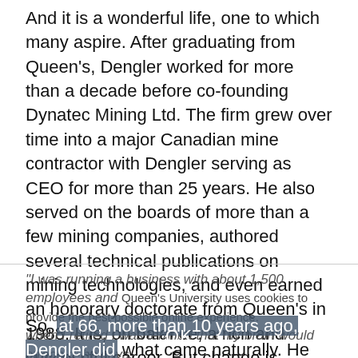And it is a wonderful life, one to which many aspire. After graduating from Queen's, Dengler worked for more than a decade before co-founding Dynatec Mining Ltd. The firm grew over time into a major Canadian mine contractor with Dengler serving as CEO for more than 25 years. He also served on the boards of more than a few mining companies, authored several technical publications on mining technologies, and even earned an honorary doctorate from Queen's in 1988. It is, on balance, a rich and successful career. But change is constant.
"I was running a business with about 1,500 employees and when I retired I was terrified that my brain would atrophy," he says.
Queen's University uses cookies to provide the best possible online experience. Learn about our privacy practices.
So, at 66, more than 10 years ago, Dengler did what came naturally. He earned his helicopter pilot's licence. Later, while on a tour of the Bell plant near Montreal, he saw an